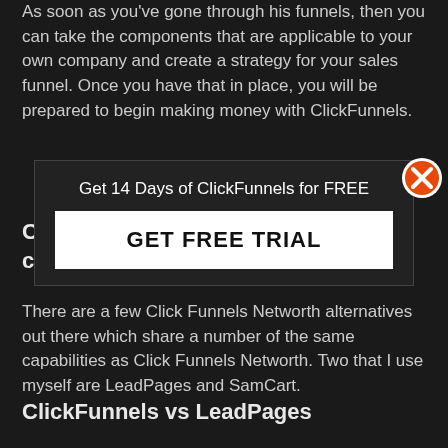As soon as you've gone through his funnels, then you can take the components that are applicable to your own company and create a strategy for your sales funnel. Once you have that in place, you will be prepared to begin making money with ClickFunnels.
Click Funnels Networth versus the competition
[Figure (screenshot): Popup overlay with text 'Get 14 Days of ClickFunnels for FREE' and a large white button labeled 'GET FREE TRIAL', with an orange X close button in the top right corner.]
There are a few Click Funnels Networth alternatives out there which share a number of the same capabilities as Click Funnels Networth. Two that I use myself are LeadPages and SamCart.
ClickFunnels vs LeadPages